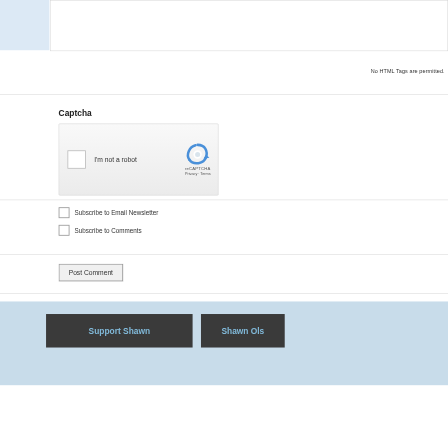No HTML Tags are permitted.
Captcha
[Figure (screenshot): reCAPTCHA widget with checkbox labeled 'I'm not a robot' and reCAPTCHA logo with Privacy and Terms links]
Subscribe to Email Newsletter
Subscribe to Comments
Post Comment
Support Shawn
Shawn Ols